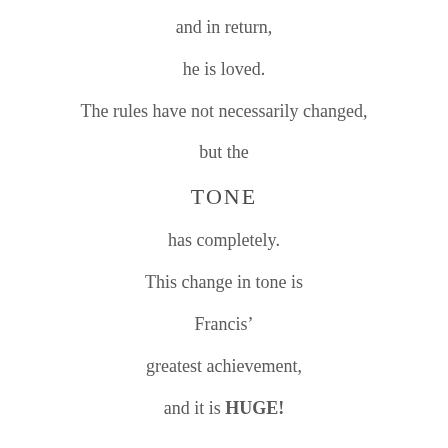and in return,

he is loved.

The rules have not necessarily changed,

but the

TONE

has completely.

This change in tone is

Francis'

greatest achievement,

and it is HUGE!